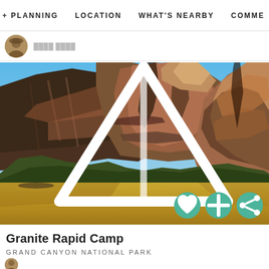+ PLANNING    LOCATION    WHAT'S NEARBY    COMME
[Figure (photo): User avatar photo, partially visible]
[Figure (photo): Grand Canyon river canyon landscape with steep reddish-brown rock walls, blue sky, green vegetation, and muddy brown Colorado River. Tent/camping triangle icon overlay at bottom left. Action icons (heart, plus, share) at bottom right.]
Granite Rapid Camp
GRAND CANYON NATIONAL PARK